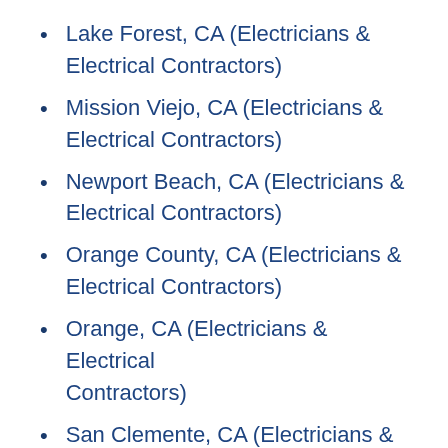Lake Forest, CA (Electricians & Electrical Contractors)
Mission Viejo, CA (Electricians & Electrical Contractors)
Newport Beach, CA (Electricians & Electrical Contractors)
Orange County, CA (Electricians & Electrical Contractors)
Orange, CA (Electricians & Electrical Contractors)
San Clemente, CA (Electricians & Electrical Contractors)
Santa Ana, CA (Electricians & Electrical